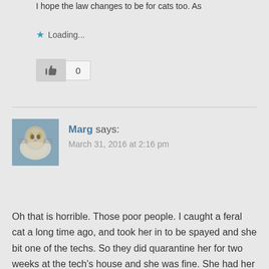I hope the law changes to be for cats too. As
Loading...
[Figure (other): Thumbs up like button with count of 0]
[Figure (photo): Avatar photo of a cat (tabby/longhaired, white and gray)]
Marg says:
March 31, 2016 at 2:16 pm
Oh that is horrible. Those poor people. I caught a feral cat a long time ago, and took her in to be spayed and she bit one of the techs. So they did quarantine her for two weeks at the tech's house and she was fine. She had her rabies shot and got spayed and came home. I would hope that most